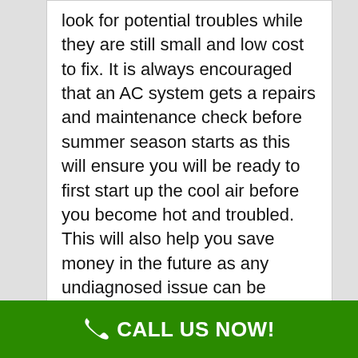look for potential troubles while they are still small and low cost to fix. It is always encouraged that an AC system gets a repairs and maintenance check before summer season starts as this will ensure you will be ready to first start up the cool air before you become hot and troubled. This will also help you save money in the future as any undiagnosed issue can be solved rapidly without the need for an emergency call-out.
CALL US NOW!